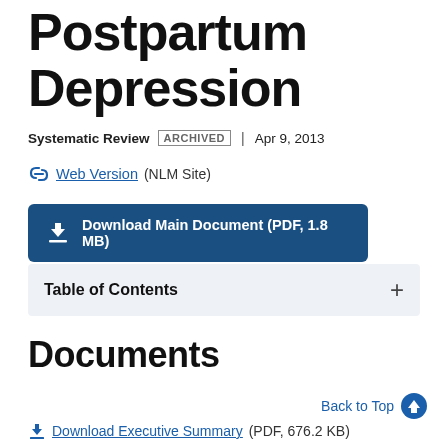Postpartum Depression
Systematic Review ARCHIVED | Apr 9, 2013
Web Version (NLM Site)
Download Main Document (PDF, 1.8 MB)
Table of Contents
Documents
Back to Top
Download Executive Summary (PDF, 676.2 KB)